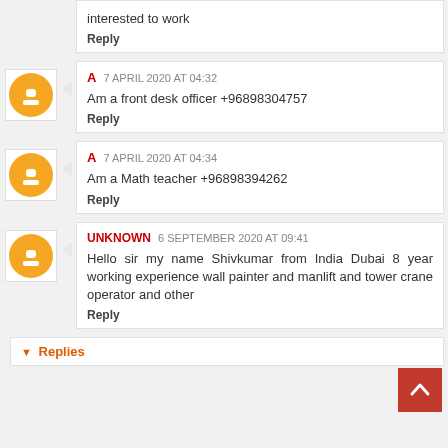interested to work
Reply
A  7 APRIL 2020 AT 04:32
Am a front desk officer +96898304757
Reply
A  7 APRIL 2020 AT 04:34
Am a Math teacher +96898394262
Reply
UNKNOWN  6 SEPTEMBER 2020 AT 09:41
Hello sir my name Shivkumar from India Dubai 8 year working experience wall painter and manlift and tower crane operator and other
Reply
Replies